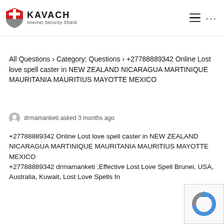[Figure (logo): Kavach Internet Security Shield logo with red and grey shield icon and bold black KAVACH text]
All Questions › Category: Questions › +27788889342 Online Lost love spell caster in NEW ZEALAND NICARAGUA MARTINIQUE MAURITANIA MAURITIUS MAYOTTE MEXICO
drmamanketi asked 3 months ago
+27788889342 Online Lost love spell caster in NEW ZEALAND NICARAGUA MARTINIQUE MAURITANIA MAURITIUS MAYOTTE MEXICO +27788889342 drmamanketi ,Effective Lost Love Spell Brunei, USA, Australia, Kuwait, Lost Love Spells In